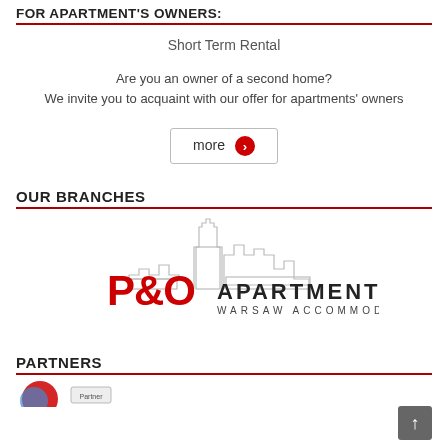FOR APARTMENT'S OWNERS:
Short Term Rental
Are you an owner of a second home?
We invite you to acquaint with our offer for apartments' owners
more →
OUR BRANCHES
[Figure (logo): P&O Apartments Warsaw Accommodation logo with city skyline silhouette]
PARTNERS
[Figure (logo): Partners logos strip at bottom]